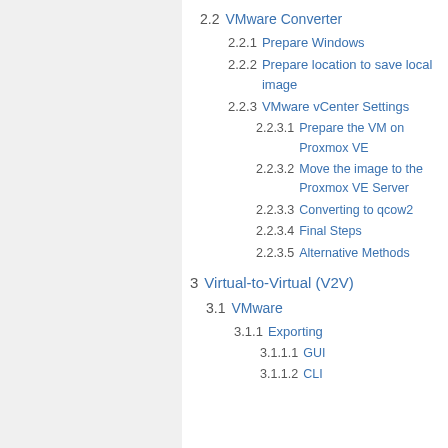2.2  VMware Converter
2.2.1  Prepare Windows
2.2.2  Prepare location to save local image
2.2.3  VMware vCenter Settings
2.2.3.1  Prepare the VM on Proxmox VE
2.2.3.2  Move the image to the Proxmox VE Server
2.2.3.3  Converting to qcow2
2.2.3.4  Final Steps
2.2.3.5  Alternative Methods
3  Virtual-to-Virtual (V2V)
3.1  VMware
3.1.1  Exporting
3.1.1.1  GUI
3.1.1.2  CLI